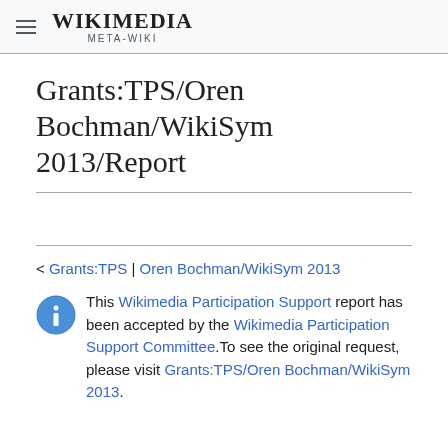WIKIMEDIA META-WIKI
Grants:TPS/Oren Bochman/WikiSym 2013/Report
< Grants:TPS | Oren Bochman/WikiSym 2013
This Wikimedia Participation Support report has been accepted by the Wikimedia Participation Support Committee. To see the original request, please visit Grants:TPS/Oren Bochman/WikiSym 2013.